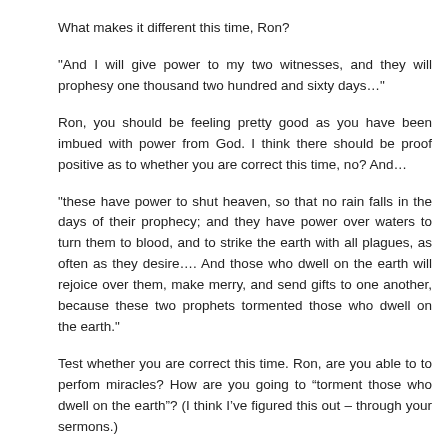What makes it different this time, Ron?
"And I will give power to my two witnesses, and they will prophesy one thousand two hundred and sixty days…"
Ron, you should be feeling pretty good as you have been imbued with power from God. I think there should be proof positive as to whether you are correct this time, no? And…
"these have power to shut heaven, so that no rain falls in the days of their prophecy; and they have power over waters to turn them to blood, and to strike the earth with all plagues, as often as they desire…. And those who dwell on the earth will rejoice over them, make merry, and send gifts to one another, because these two prophets tormented those who dwell on the earth."
Test whether you are correct this time. Ron, are you able to to perfom miracles? How are you going to “torment those who dwell on the earth”? (I think I’ve figured this out – through your sermons.)